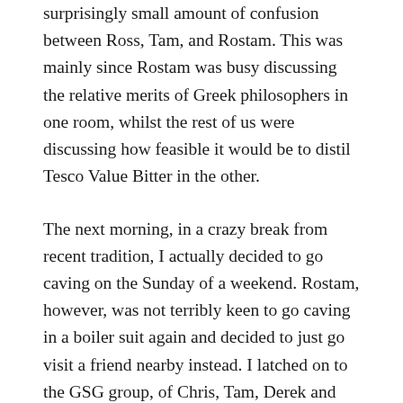surprisingly small amount of confusion between Ross, Tam, and Rostam. This was mainly since Rostam was busy discussing the relative merits of Greek philosophers in one room, whilst the rest of us were discussing how feasible it would be to distil Tesco Value Bitter in the other.
The next morning, in a crazy break from recent tradition, I actually decided to go caving on the Sunday of a weekend. Rostam, however, was not terribly keen to go caving in a boiler suit again and decided to just go visit a friend nearby instead. I latched on to the GSG group, of Chris, Tam, Derek and Ross, and we set about deciding where we would go.
After discussing the relative merits of what felt like every entry in ‘Northern Caves’, we decided that since we were ostensibly here for the GG meet, we should probably actually go to GG. This had the additional bonus of meaning we could save ourselves from...